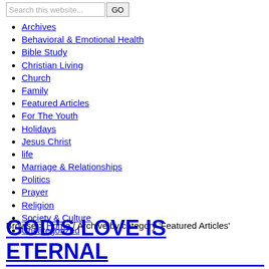Search this website... GO
Archives
Behavioral & Emotional Health
Bible Study
Christian Living
Church
Family
Featured Articles
For The Youth
Holidays
Jesus Christ
life
Marriage & Relationships
Politics
Prayer
Religion
Society & Culture
Uncategorized
Browse > Home / Archive by category 'Featured Articles'
GOD'S LOVE IS ETERNAL